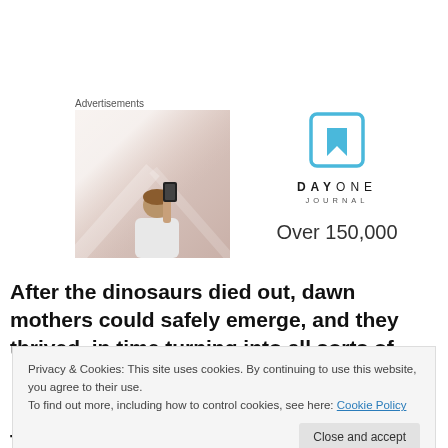Advertisements
[Figure (photo): Person photographing sky with phone, seen from behind]
[Figure (logo): Day One Journal app logo — blue bookmark icon with DAYONE JOURNAL text and 'Over 150,000' below]
After the dinosaurs died out, dawn mothers could safely emerge, and they thrived, in time turning into all sorts of
Privacy & Cookies: This site uses cookies. By continuing to use this website, you agree to their use.
To find out more, including how to control cookies, see here: Cookie Policy
Close and accept
They were the first creatures to nourish a baby inside the